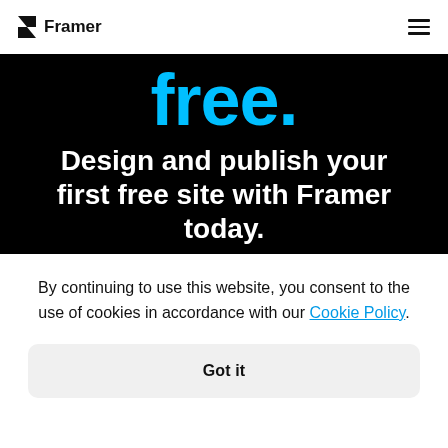Framer
free.
Design and publish your first free site with Framer today.
By continuing to use this website, you consent to the use of cookies in accordance with our Cookie Policy.
Got it